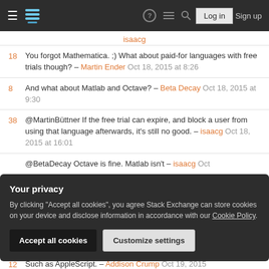Stack Exchange navigation bar with Log in and Sign up buttons
isaacg
18 You forgot Mathematica. ;) What about paid-for languages with free trials though? – Martin Ender Oct 18, 2015 at 8:26
8 And what about Matlab and Octave? – Beta Decay Oct 18, 2015 at 9:30
38 @MartinBüttner If the free trial can expire, and block a user from using that language afterwards, it's still no good. – isaacg Oct 18, 2015 at 16:01
@BetaDecay Octave is fine. Matlab isn't – isaacg Oct
Your privacy
By clicking "Accept all cookies", you agree Stack Exchange can store cookies on your device and disclose information in accordance with our Cookie Policy.
Accept all cookies   Customize settings
12 Such as AppleScript. – Addison Crump Oct 19, 2015